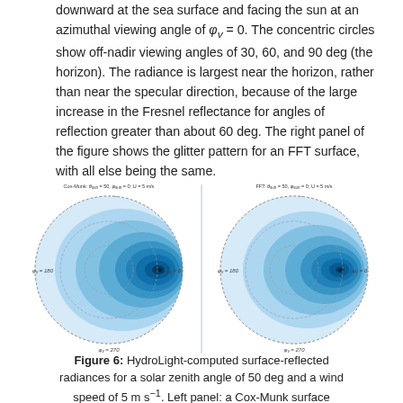downward at the sea surface and facing the sun at an azimuthal viewing angle of φv = 0. The concentric circles show off-nadir viewing angles of 30, 60, and 90 deg (the horizon). The radiance is largest near the horizon, rather than near the specular direction, because of the large increase in the Fresnel reflectance for angles of reflection greater than about 60 deg. The right panel of the figure shows the glitter pattern for an FFT surface, with all else being the same.
[Figure (other): Two polar/hemispherical plots side by side showing HydroLight-computed surface-reflected radiance glitter patterns. Left panel labeled 'Cox-Munk: θsun = 50, φsun = 0; U = 5 m/s', right panel labeled 'FFT: θsun = 50, φsun = 0; U = 5 m/s'. Each shows a circular blue gradient pattern with concentric dashed circles indicating viewing angles, labeled with φv = 0, φv = 180, φv = 270, θv = 90 (horizon). The glitter pattern is offset from center toward the sun direction with brighter blues near horizon.]
Figure 6: HydroLight-computed surface-reflected radiances for a solar zenith angle of 50 deg and a wind speed of 5 m s⁻¹. Left panel: a Cox-Munk surface realizations;